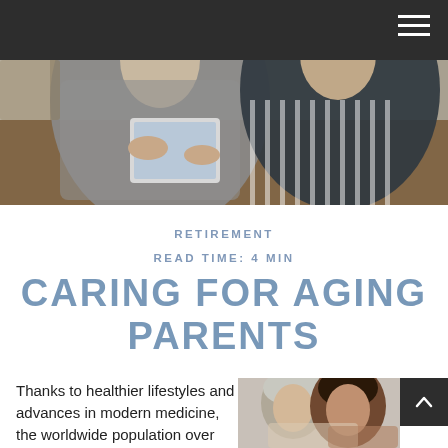Navigation header with hamburger menu
[Figure (photo): Two elderly people sitting at a wooden table, one holding a tablet device. One person wears a speckled grey cardigan, the other a striped black and white shirt.]
RETIREMENT
READ TIME: 4 MIN
CARING FOR AGING PARENTS
Thanks to healthier lifestyles and advances in modern medicine, the worldwide population over
[Figure (photo): An elderly woman with grey hair being embraced by a younger woman, both smiling.]